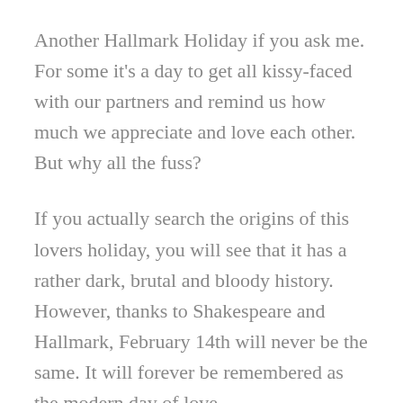Another Hallmark Holiday if you ask me. For some it's a day to get all kissy-faced with our partners and remind us how much we appreciate and love each other. But why all the fuss?
If you actually search the origins of this lovers holiday, you will see that it has a rather dark, brutal and bloody history. However, thanks to Shakespeare and Hallmark, February 14th will never be the same. It will forever be remembered as the modern day of love.
You still either love it or hate it. Love it because prince charming brings you a bouquet of red roses and chocolate covered strawberries every year. Hate it because your lonely and single and your mom didn't even wish you a Happy Valentine's Day. For those in a long relationship it's the perfect day for a wedding proposal. (Perfect? or super cheesy?) I guess if done right and of